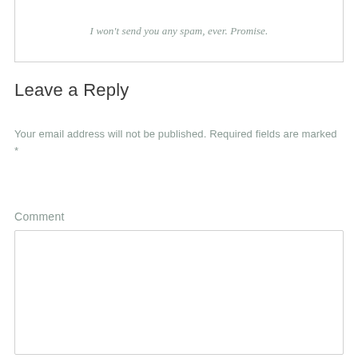I won't send you any spam, ever. Promise.
Leave a Reply
Your email address will not be published. Required fields are marked *
Comment